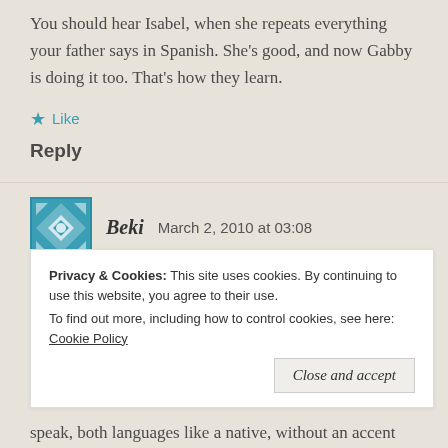You should hear Isabel, when she repeats everything your father says in Spanish. She's good, and now Gabby is doing it too. That's how they learn.
★ Like
Reply
Beki   March 2, 2010 at 03:08
Children are amazingly adaptable. I grew up in the States, a child to immigrant parents. I grew up
Privacy & Cookies: This site uses cookies. By continuing to use this website, you agree to their use.
To find out more, including how to control cookies, see here: Cookie Policy
Close and accept
speak, both languages like a native, without an accent